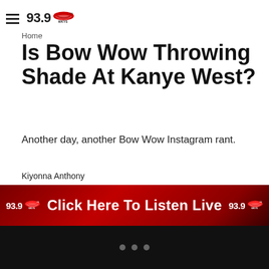93.9 WKYS
Home
Is Bow Wow Throwing Shade At Kanye West?
Another day, another Bow Wow Instagram rant.
Kiyonna Anthony
[Figure (other): 93.9 WKYS banner advertisement: Click Here To Listen Live]
...